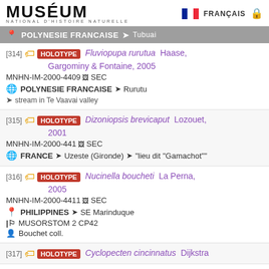MUSÉUM NATIONAL D'HISTOIRE NATURELLE | FRANÇAIS
POLYNESIE FRANCAISE > Tubuai
[314] HOLOTYPE Fluviopupa rurutua Haase, Gargominy & Fontaine, 2005 | MNHN-IM-2000-4409 SEC | POLYNESIE FRANCAISE > Rurutu | stream in Te Vaavai valley
[315] HOLOTYPE Dizoniopsis brevicaput Lozouet, 2001 | MNHN-IM-2000-441 SEC | FRANCE > Uzeste (Gironde) > "lieu dit "Gamachot""
[316] HOLOTYPE Nucinella boucheti La Perna, 2005 | MNHN-IM-2000-4411 SEC | PHILIPPINES > SE Marinduque | MUSORSTOM 2 CP42 | Bouchet coll.
[317] HOLOTYPE Cyclopecten cincinnatus Dijkstra